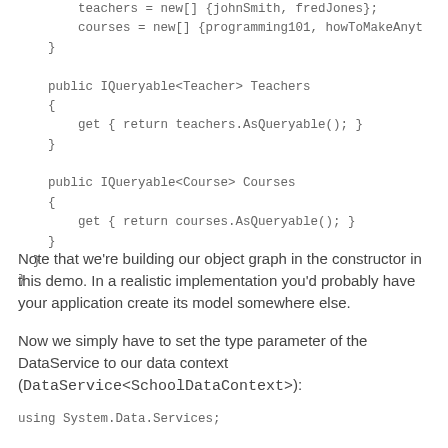teachers = new[] {johnSmith, fredJones};
        courses = new[] {programming101, howToMakeAnyt
    }

    public IQueryable<Teacher> Teachers
    {
        get { return teachers.AsQueryable(); }
    }

    public IQueryable<Course> Courses
    {
        get { return courses.AsQueryable(); }
    }
}
}
Note that we're building our object graph in the constructor in this demo. In a realistic implementation you'd probably have your application create its model somewhere else.
Now we simply have to set the type parameter of the DataService to our data context (DataService<SchoolDataContext>):
using System.Data.Services;